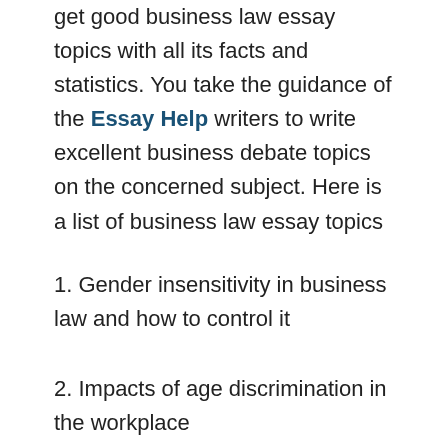get good business law essay topics with all its facts and statistics. You take the guidance of the Essay Help writers to write excellent business debate topics on the concerned subject. Here is a list of business law essay topics
1. Gender insensitivity in business law and how to control it
2. Impacts of age discrimination in the workplace